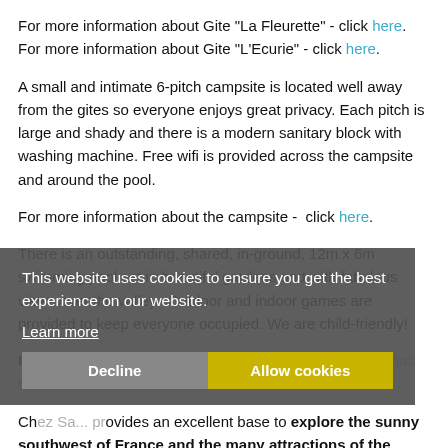For more information about Gite "La Fleurette" - click here.
For more information about Gite "L'Ecurie" - click here.
A small and intimate 6-pitch campsite is located well away from the gites so everyone enjoys great privacy. Each pitch is large and shady and there is a modern sanitary block with washing machine. Free wifi is provided across the campsite and around the pool.
For more information about the campsite -  click here.
There is an outstanding, shared, in-ground, 12m x 6m swimming pool set in beautiful gardens and with fabulous views over the valley.  Outdoor and indoor games are provided to keep everyone occupied. We are child-friendly!
Please take a look at our gallery to see what Chez Sa... has to offer.
Chez Sa... provides an excellent base to explore the sunny southwest of France and the many attractions of the Charente, Charente Maritime, Gironde and Dordogne. The quiet lanes are ideal for touring by car, bicycle or on foot to explore the beautiful rolling countryside, historic villages and towns, the lakes and the authentic local character such as markets, good restaurants, vineyards and cognac distilleries. The rural landscape is
This website uses cookies to ensure you get the best experience on our website.
Learn more
Decline    Allow cookies